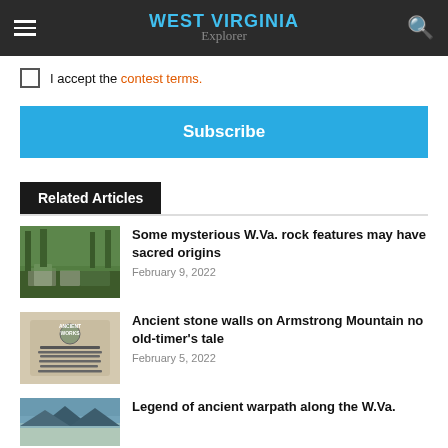WEST VIRGINIA Explorer
I accept the contest terms.
Subscribe
Related Articles
[Figure (photo): Forest with stone ruins on ground]
Some mysterious W.Va. rock features may have sacred origins
February 9, 2022
[Figure (photo): Ancient Works historical marker sign]
Ancient stone walls on Armstrong Mountain no old-timer's tale
February 5, 2022
[Figure (photo): Mountain landscape view]
Legend of ancient warpath along the W.Va.